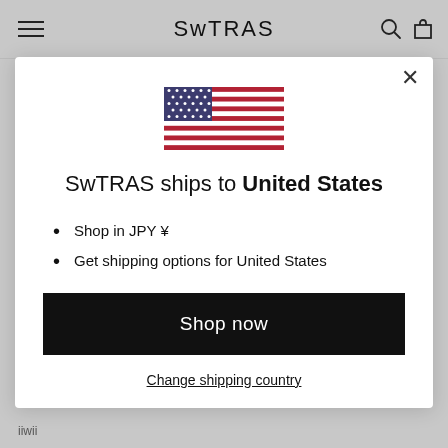SwTRAS
[Figure (illustration): US flag SVG illustration]
SwTRAS ships to United States
Shop in JPY ¥
Get shipping options for United States
Shop now
Change shipping country
iiwii